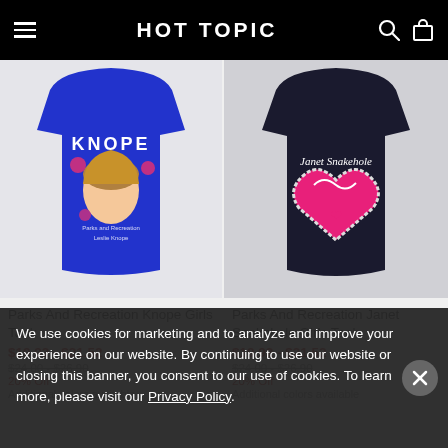HOT TOPIC
[Figure (photo): Blue tank top with Parks and Recreation Leslie Knope graphic, pink roses and portrait]
Parks And Recreation Knope Girls Tank
$19.92 - $21.52
$24.00 - $26.90
20% Off
Additional colors available
[Figure (photo): Black tank top with Parks and Recreation Janet Snakehole graphic, pink heart design]
Parks And Recreation Janet Snakehole Girls Tank
$19.92 - $21.52
$24.00 - $26.90
20% Off
Additional colors available
We use cookies for marketing and to analyze and improve your experience on our website. By continuing to use our website or closing this banner, you consent to our use of cookies. To learn more, please visit our Privacy Policy.